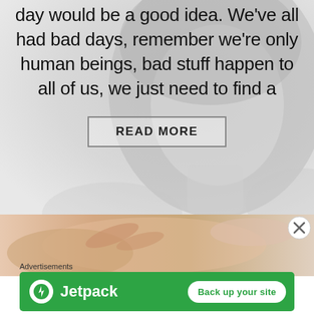[Figure (photo): Grayscale/light-toned background photo of a woman with long hair, fading to white. The image occupies the upper portion of the page.]
day would be a good idea. We've all had bad days, remember we're only human beings, bad stuff happen to all of us, we just need to find a
READ MORE
[Figure (photo): A photo strip showing a person receiving a facial or neck massage, partially visible across the lower-middle section of the page.]
Advertisements
[Figure (logo): Jetpack advertisement banner with green background, Jetpack logo (white circle with lightning bolt), 'Jetpack' text in white, and a white pill button reading 'Back up your site'.]